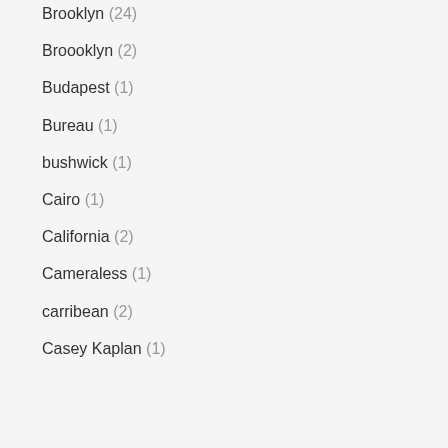Brooklyn (24)
Broooklyn (2)
Budapest (1)
Bureau (1)
bushwick (1)
Cairo (1)
California (2)
Cameraless (1)
carribean (2)
Casey Kaplan (1)